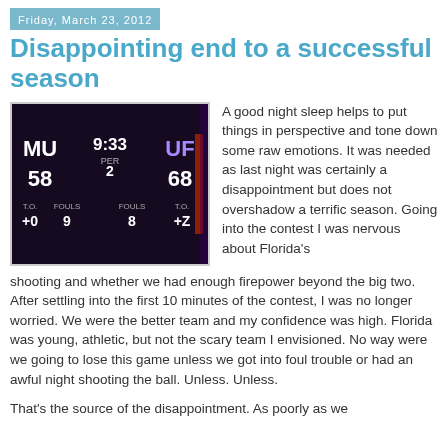Friday, March 23, 2012
Disappointing end to a successful season
[Figure (photo): A basketball scoreboard showing MU 58, UF 68, with 9:33 remaining in period 2, fouls and timeouts displayed.]
A good night sleep helps to put things in perspective and tone down some raw emotions. It was needed as last night was certainly a disappointment but does not overshadow a terrific season. Going into the contest I was nervous about Florida's shooting and whether we had enough firepower beyond the big two. After settling into the first 10 minutes of the contest, I was no longer worried. We were the better team and my confidence was high. Florida was young, athletic, but not the scary team I envisioned. No way were we going to lose this game unless we got into foul trouble or had an awful night shooting the ball. Unless. Unless.
That's the source of the disappointment. As poorly as we